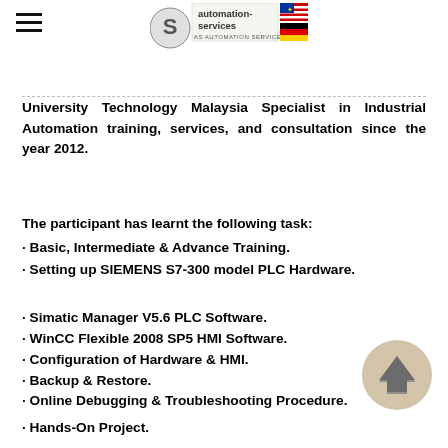AS Automation Services logo with Malaysian and German flags
University Technology Malaysia Specialist in Industrial Automation training, services, and consultation since the year 2012.
The participant has learnt the following task:
· Basic, Intermediate & Advance Training.
· Setting up SIEMENS S7-300 model PLC Hardware.
· Simatic Manager V5.6 PLC Software.
· WinCC Flexible 2008 SP5 HMI Software.
· Configuration of Hardware & HMI.
· Backup & Restore.
· Online Debugging & Troubleshooting Procedure.
· Hands-On Project.
[Figure (illustration): Circular scroll-to-top button with upward arrow, gold/beige background]